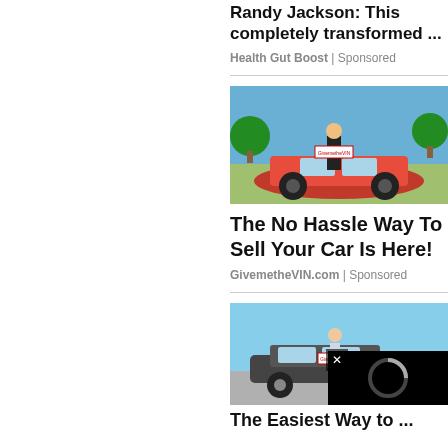Randy Jackson: This completely transformed ...
Health Gut Boost | Sponsored
[Figure (photo): Person standing next to a red sports car holding a sign]
The No Hassle Way To Sell Your Car Is Here!
GivemetheVIN.com | Sponsored
[Figure (photo): Woman standing next to a dark sports car holding a sign, with a video overlay and close button in the corner]
The Easiest Way to ...